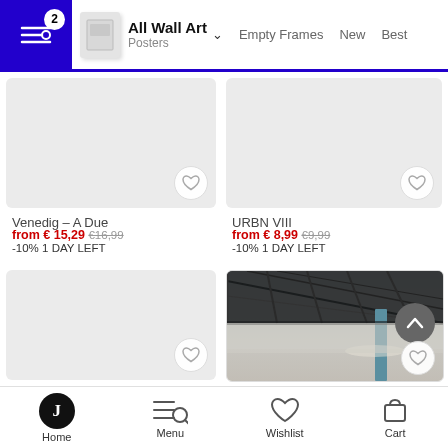All Wall Art / Posters | Empty Frames | New | Best
[Figure (photo): Product thumbnail placeholder - Venedig A Due poster]
Venedig – A Due
from € 15,29  €16,99
-10% 1 DAY LEFT
[Figure (photo): Product thumbnail placeholder - URBN VIII poster]
URBN VIII
from € 8,99  €9,99
-10% 1 DAY LEFT
[Figure (photo): Product thumbnail placeholder - unnamed poster]
[Figure (photo): Photograph of underside of a bridge or pier structure, viewed from below at an angle, with water and misty background, teal/blue support pillar visible]
Home | Menu | Wishlist | Cart